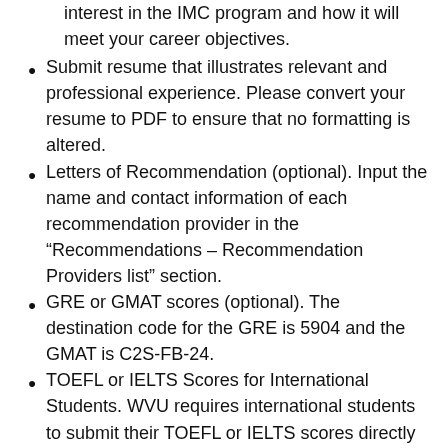interest in the IMC program and how it will meet your career objectives.
Submit resume that illustrates relevant and professional experience. Please convert your resume to PDF to ensure that no formatting is altered.
Letters of Recommendation (optional). Input the name and contact information of each recommendation provider in the “Recommendations – Recommendation Providers list” section.
GRE or GMAT scores (optional). The destination code for the GRE is 5904 and the GMAT is C2S-FB-24.
TOEFL or IELTS Scores for International Students. WVU requires international students to submit their TOEFL or IELTS scores directly to the central WVU Office of Admissions. Use the destination code 5904 to have TOEFL scores sent. Generally, applicants whose first language is not English must submit